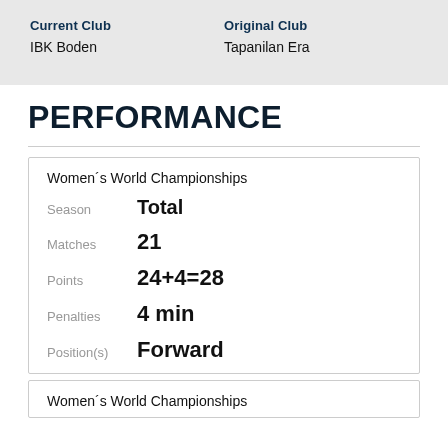| Current Club | Original Club |
| --- | --- |
| IBK Boden | Tapanilan Era |
PERFORMANCE
Women's World Championships
Season: Total
Matches: 21
Points: 24+4=28
Penalties: 4 min
Position(s): Forward
Women's World Championships